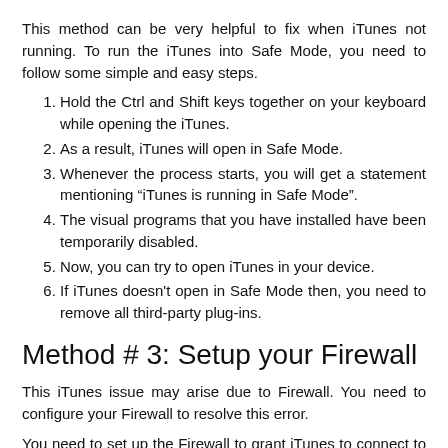This method can be very helpful to fix when iTunes not running. To run the iTunes into Safe Mode, you need to follow some simple and easy steps.
1. Hold the Ctrl and Shift keys together on your keyboard while opening the iTunes.
2. As a result, iTunes will open in Safe Mode.
3. Whenever the process starts, you will get a statement mentioning “iTunes is running in Safe Mode”.
4. The visual programs that you have installed have been temporarily disabled.
5. Now, you can try to open iTunes in your device.
6. If iTunes doesn't open in Safe Mode then, you need to remove all third-party plug-ins.
Method # 3: Setup your Firewall
This iTunes issue may arise due to Firewall. You need to configure your Firewall to resolve this error.
You need to set up the Firewall to grant iTunes to connect to the internet. Following are some simple steps to make sure that the firewall on your Windows 10 PC is not preventing iTunes.